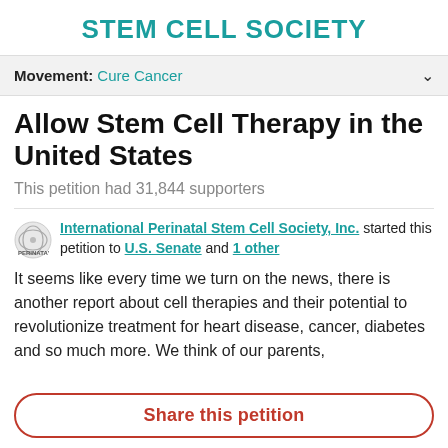STEM CELL SOCIETY
Movement: Cure Cancer
Allow Stem Cell Therapy in the United States
This petition had 31,844 supporters
International Perinatal Stem Cell Society, Inc. started this petition to U.S. Senate and 1 other
It seems like every time we turn on the news, there is another report about cell therapies and their potential to revolutionize treatment for heart disease, cancer, diabetes and so much more. We think of our parents,
Share this petition